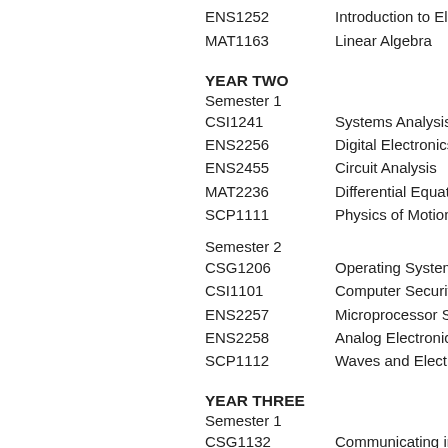CSP2204	Data Structures
ENS1252	Introduction to Elec
MAT1163	Linear Algebra
YEAR TWO
Semester 1
CSI1241	Systems Analysis
ENS2256	Digital Electronics
ENS2455	Circuit Analysis
MAT2236	Differential Equations
SCP1111	Physics of Motion
Semester 2
CSG1206	Operating Systems
CSI1101	Computer Security
ENS2257	Microprocessor Sys
ENS2258	Analog Electronics
SCP1112	Waves and Electric
YEAR THREE
Semester 1
CSG1132	Communicating in a
MAT3484	Data Analysis and M
ENS3341	Signals and Systems